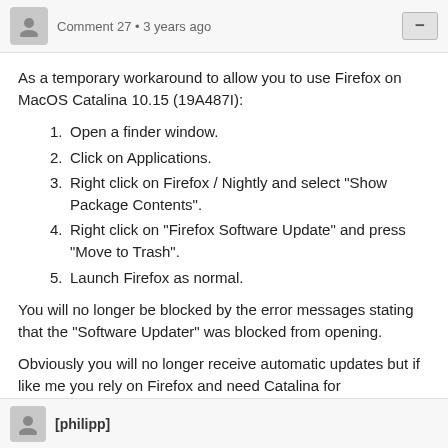Comment 27 • 3 years ago
As a temporary workaround to allow you to use Firefox on MacOS Catalina 10.15 (19A487I):
1. Open a finder window.
2. Click on Applications.
3. Right click on Firefox / Nightly and select "Show Package Contents".
4. Right click on "Firefox Software Update" and press "Move to Trash".
5. Launch Firefox as normal.
You will no longer be blocked by the error messages stating that the "Software Updater" was blocked from opening.
Obviously you will no longer receive automatic updates but if like me you rely on Firefox and need Catalina for development, this works until this bug is resolved.
[philipp]